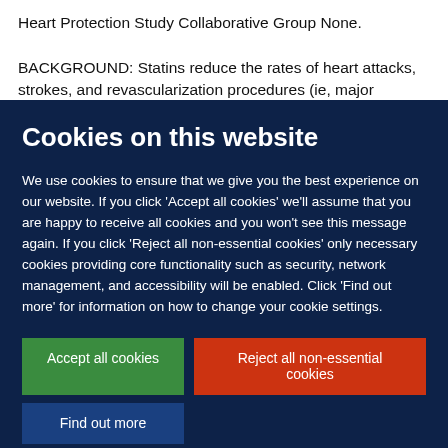Heart Protection Study Collaborative Group None. BACKGROUND: Statins reduce the rates of heart attacks, strokes, and revascularization procedures (ie, major vascular
Cookies on this website
We use cookies to ensure that we give you the best experience on our website. If you click 'Accept all cookies' we'll assume that you are happy to receive all cookies and you won't see this message again. If you click 'Reject all non-essential cookies' only necessary cookies providing core functionality such as security, network management, and accessibility will be enabled. Click 'Find out more' for information on how to change your cookie settings.
Accept all cookies
Reject all non-essential cookies
Find out more